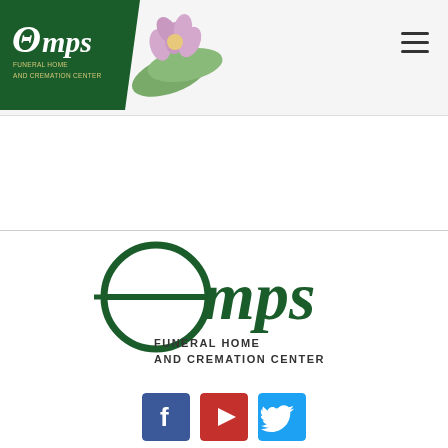[Figure (logo): Omps Funeral Home and Cremation Center logo badge in dark green with flower decoration, top-left of page header]
[Figure (logo): Omps Funeral Home and Cremation Center main logo, large green text centered in footer area]
[Figure (illustration): Social media icons: Facebook (blue), YouTube (red), Twitter (light blue) in rounded square buttons]